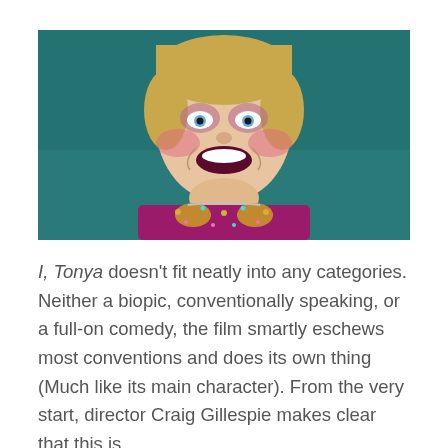[Figure (photo): Close-up photo of a woman (actress in costume as Tonya Harding) smiling broadly, wearing heavy stage makeup with rosy cheeks and dark lipstick, blonde hair pulled back, wearing a bejeweled magenta/gold skating costume, against a dark teal background.]
I, Tonya doesn't fit neatly into any categories. Neither a biopic, conventionally speaking, or a full-on comedy, the film smartly eschews most conventions and does its own thing (Much like its main character). From the very start, director Craig Gillespie makes clear that this is